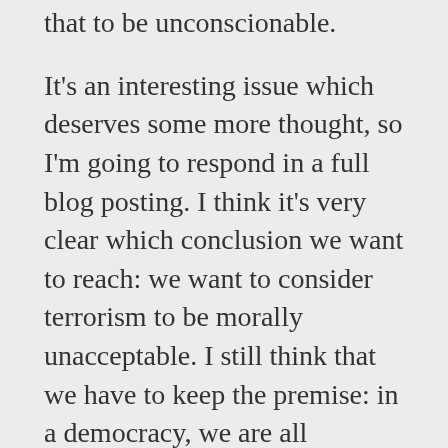that to be unconscionable.
It's an interesting issue which deserves some more thought, so I'm going to respond in a full blog posting. I think it's very clear which conclusion we want to reach: we want to consider terrorism to be morally unacceptable. I still think that we have to keep the premise: in a democracy, we are all responsible for the actions of our government. We can't disclaim our leaders simply because we voted for the other person. We are all part of the same society.
If our government invades another country, then I think the people in that country have a moral right to resist the invasion. Note that I'm not saying that they should resist, and I'm also not saying that our government must never invade another country. I'm just saying that they have a right to resist if they choose, but to say we add them the right to resist.